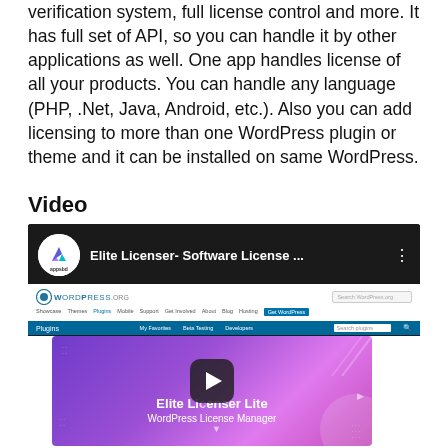verification system, full license control and more. It has full set of API, so you can handle it by other applications as well. One app handles license of all your products. You can handle any language (PHP, .Net, Java, Android, etc.). Also you can add licensing to more than one WordPress plugin or theme and it can be installed on same WordPress.
Video
[Figure (screenshot): YouTube-style video embed showing two thumbnails: top is a YouTube video titled 'Elite Licenser- Software License ...' with appsbd logo, showing WordPress.org plugin page. Bottom thumbnail shows 'Elite Licenser Lite WordPress License Manager' on a purple gradient background with a play button.]